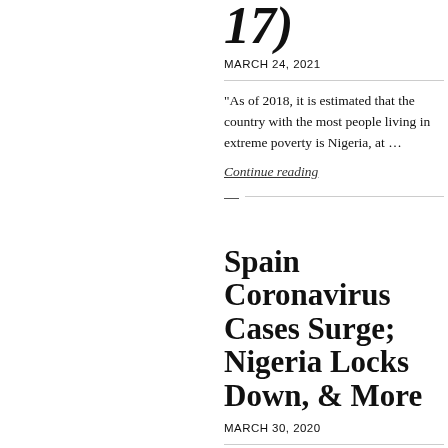17)
MARCH 24, 2021
"As of 2018, it is estimated that the country with the most people living in extreme poverty is Nigeria, at …
Continue reading
Face Mask Fraud Scheme Used Compromised Emails, Advance-Payment Fraud and Money Laundering
Spain Coronavirus Cases Surge; Nigeria Locks Down, & More
MARCH 30, 2020
"Spain Coronavirus Cases Surge; Nigeria Locks Down By VOA News March 30, 2020 08:15 AM Spain